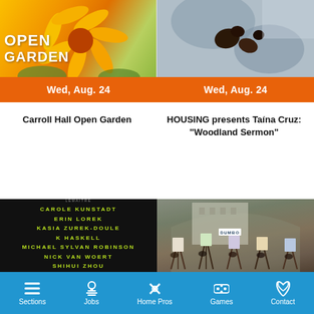[Figure (photo): Yellow flower with open garden text overlay on orange/yellow background]
Wed, Aug. 24
Carroll Hall Open Garden
[Figure (photo): Dark abstract blobs on blue-grey background]
Wed, Aug. 24
HOUSING presents Taína Cruz: "Woodland Sermon"
[Figure (photo): Art exhibition poster on dark background listing artists: Carole Kunstadt, Erin Lorek, Kasia Zurek-Doule, K Haskell, Michael Sylvan Robinson, Nick Van Woert, Shihui Zhou. On display through October 19 2022]
[Figure (photo): Outdoor art class under archway in DUMBO Brooklyn, people painting on easels]
Sections   Jobs   Home Pros   Games   Contact